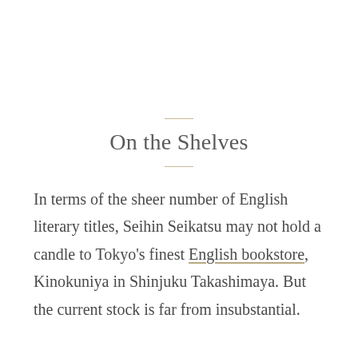On the Shelves
In terms of the sheer number of English literary titles, Seihin Seikatsu may not hold a candle to Tokyo's finest English bookstore, Kinokuniya in Shinjuku Takashimaya. But the current stock is far from insubstantial.